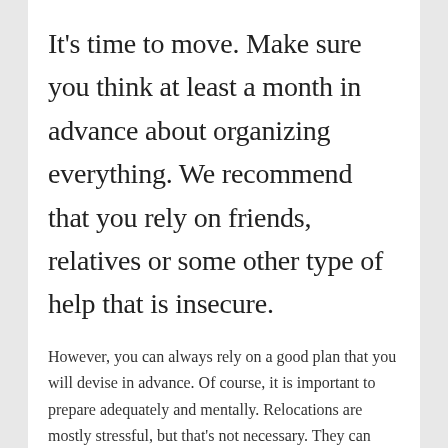It's time to move. Make sure you think at least a month in advance about organizing everything. We recommend that you rely on friends, relatives or some other type of help that is insecure.
However, you can always rely on a good plan that you will devise in advance. Of course, it is important to prepare adequately and mentally. Relocations are mostly stressful, but that's not necessary. They can also be a nice experience if